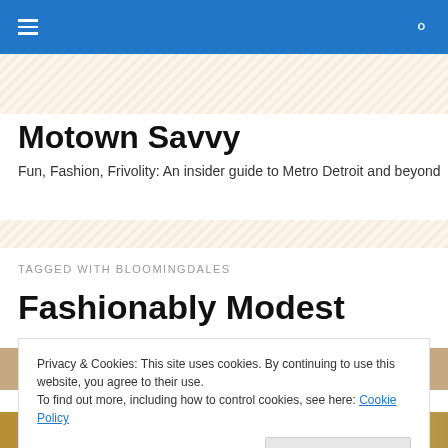Motown Savvy — site header navigation bar with hamburger menu and search icon
Motown Savvy
Fun, Fashion, Frivolity: An insider guide to Metro Detroit and beyond
TAGGED WITH BLOOMINGDALES
Fashionably Modest
[Figure (photo): Photo strip showing partial image at top of article]
Privacy & Cookies: This site uses cookies. By continuing to use this website, you agree to their use.
To find out more, including how to control cookies, see here: Cookie Policy
[Figure (photo): Bottom photo strip showing women]